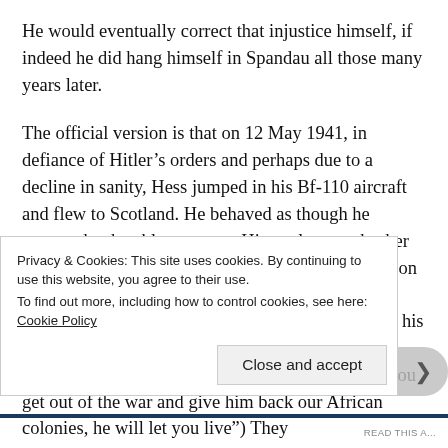He would eventually correct that injustice himself, if indeed he did hang himself in Spandau all those many years later.

The official version is that on 12 May 1941, in defiance of Hitler’s orders and perhaps due to a decline in sanity, Hess jumped in his Bf-110 aircraft and flew to Scotland. He behaved as though he expected to be able to return. His goal was to broker peace between Germany (which he knew would soon be at close quarters with the Soviet Union) and Britain. The British heard him out, but did not find his proposals compelling. (Short version: “Herr Hitler never wanted to destroy you and still does not. If you get out of the war and give him back our African colonies, he will let you live”) They
Privacy & Cookies: This site uses cookies. By continuing to use this website, you agree to their use.
To find out more, including how to control cookies, see here: Cookie Policy
Close and accept